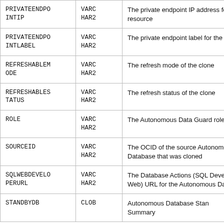| Column | Type | Description |
| --- | --- | --- |
| PRIVATEENDPOINTIP | VARCHAR2 | The private endpoint IP address for the resource |
| PRIVATEENDPOINTLABEL | VARCHAR2 | The private endpoint label for the resource |
| REFRESHABLEMODE | VARCHAR2 | The refresh mode of the clone |
| REFRESHABLESTATUS | VARCHAR2 | The refresh status of the clone |
| ROLE | VARCHAR2 | The Autonomous Data Guard role |
| SOURCEID | VARCHAR2 | The OCID of the source Autonomous Database that was cloned |
| SQLWEBDEVELOPERURL | VARCHAR2 | The Database Actions (SQL Developer Web) URL for the Autonomous Database |
| STANDBYDB | CLOB | Autonomous Database Standby Summary |